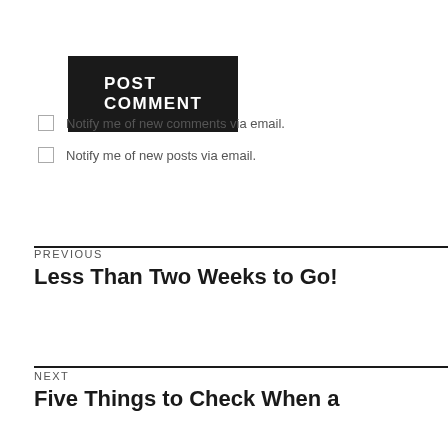POST COMMENT
Notify me of new comments via email.
Notify me of new posts via email.
PREVIOUS
Less Than Two Weeks to Go!
NEXT
Five Things to Check When a